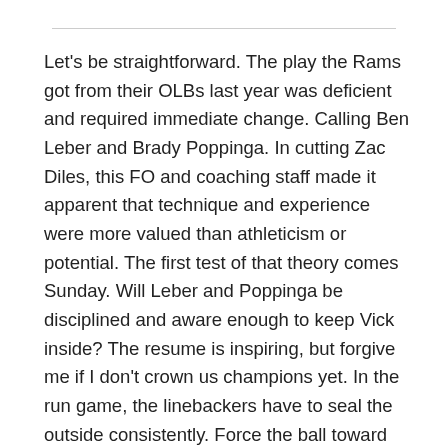Let's be straightforward. The play the Rams got from their OLBs last year was deficient and required immediate change. Calling Ben Leber and Brady Poppinga. In cutting Zac Diles, this FO and coaching staff made it apparent that technique and experience were more valued than athleticism or potential. The first test of that theory comes Sunday. Will Leber and Poppinga be disciplined and aware enough to keep Vick inside? The resume is inspiring, but forgive me if I don't crown us champions yet. In the run game, the linebackers have to seal the outside consistently. Force the ball toward Fred Robbins and James Laurinaitis. Don't allow backs to find one-on-one lanes against cornerbacks. It's a tall order, but beating the Eagles will require a few.